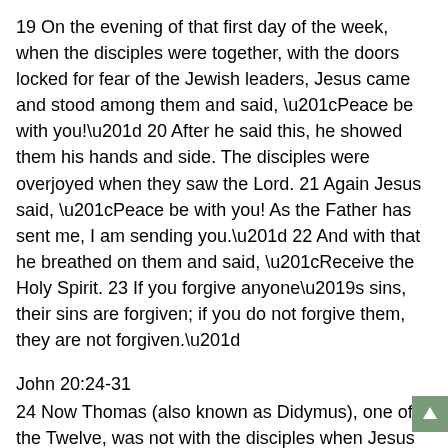19 On the evening of that first day of the week, when the disciples were together, with the doors locked for fear of the Jewish leaders, Jesus came and stood among them and said, “Peace be with you!” 20 After he said this, he showed them his hands and side. The disciples were overjoyed when they saw the Lord. 21 Again Jesus said, “Peace be with you! As the Father has sent me, I am sending you.” 22 And with that he breathed on them and said, “Receive the Holy Spirit. 23 If you forgive anyone’s sins, their sins are forgiven; if you do not forgive them, they are not forgiven.”
John 20:24-31
24 Now Thomas (also known as Didymus), one of the Twelve, was not with the disciples when Jesus came. 25 So the other disciples told him, “We have seen the Lord!” But he said to them, “Unless I see the nail marks in his hands and put my finger where the nails were, and put my hand into his side, I will not believe.” 26 A week later his disciples were in the house again, and Thomas was with them. Though